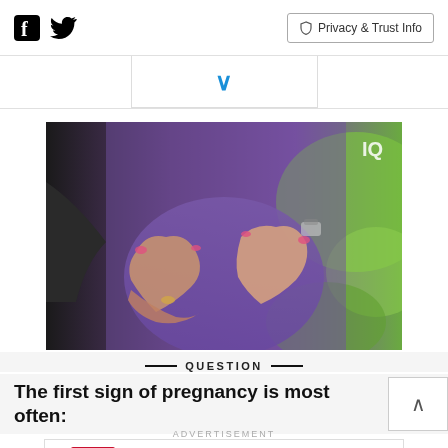Facebook Twitter | Privacy & Trust Info
[Figure (photo): Pregnant woman in purple dress with hands forming a heart shape on her belly, outdoors with green background. Watermark 'IQ' visible.]
QUESTION
The first sign of pregnancy is most often:
ADVERTISEMENT
[Figure (other): CVS Pharmacy advertisement: 50+ Same Day Photo Products, CVS Photo]